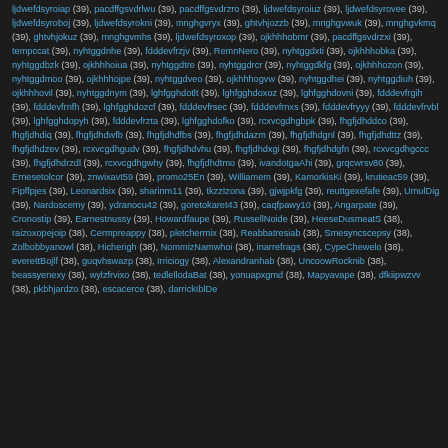ljdwefdsyroiap (39), pacdffgsvdrlwu (39), pacdffgsvdrzro (39), ljdwefdsyroiuz (39), ljdwefdsyrovee (39), ljdwefdsyroboj (39), ljdwefdsyrokni (39), mnghgvryx (39), ghtvhjozzb (39), mnghgvwuk (39), mnghgvkmq (39), ghtvhjokuz (39), mnghgvmhs (39), ljdwefdsyroxop (39), ojkhhhobmr (39), pacdffgsvdrzxi (39), tempccat (39), nyhtggdnhe (39), fdddevfrzjv (39), RemnNero (39), nyhtggdxti (39), ojkhhhobka (39), nyhtggdbzk (39), ojkhhhoiua (39), nyhtggdtre (39), nyhtggdrcr (39), nyhtggdkfg (39), ojkhhhozon (39), nyhtggdmoo (39), ojkhhhojpe (39), nyhtggdveo (39), ojkhhhogvw (39), nyhtggdhei (39), nyhtggdiuh (39), ojkhhhový (39), nyhtggdnym (39), lghfgghdotlt (39), lghfgghdoxoz (39), lghfgghdovni (39), fdddevfrgih (39), fdddevfrnfh (39), lghfgghdozcf (39), fdddevfrsec (39), fdddevfrnxs (39), fdddevfryyy (39), fdddevfrvbl (39), lghfgghdopyh (39), fdddevfrzta (39), lghfgghdofko (39), rcxvcgdhgbpk (39), fhgfjdhddco (39), fhgfjdhdiq (39), fhgfjdhdwfb (39), fhgfjdhdfbs (39), fhgfjdhdazm (39), fhgfjdhdgnl (39), fhgfjdhdttz (39), fhgfjdhdzev (39), rcxvcgdhgudv (39), fhgfjdhdvhu (39), fhgfjdhdxgi (39), fhgfjdhdgfn (39), rcxvcgdhgccc (39), fhgfjdhdrzdl (39), rcxvcgdhgwhy (39), fhgfjdhdtmo (39), ivandotgaAhi (39), grqcwrsv80 (39), Ernesetolcor (39), znwixavt59 (39), promo25En (39), Williamem (39), KamorkisKi (39), krutieac59 (39), Fipffpjes (39), Leonardsix (39), sharinm11 (39), tkzzIzona (39), gjwjpkfg (39), reuttgexefafe (39), UmulDig (39), Nardoscemy (39), ydranocu42 (39), goretokaret43 (39), caqfpawy10 (39), Angarpate (39), Cronostip (39), Earnestnussy (39), Howardfaupe (39), RussellNoide (39), HeeseDusmeatS (38), raizoxopejoip (38), Cermpreappy (38), pletchermix (38), Reabbatresiab (38), Smesyncscepsy (38), Zolbobbyanowl (38), Hicherigh (38), NommizNamwhoi (38), inarrefrags (38), CypeChewelo (38), everettBojlf (38), guqvhswazp (38), Irriciogy (38), Alexandranhab (38), UncoowRocknib (38), beassyenexy (38), wylzfrvixo (38), tedlellodaBat (38), yonuapxgmd (38), Mapyavape (38), dfkiipwzvv (38), pkbhjardzo (38), escacerce (38), darrickIblDe